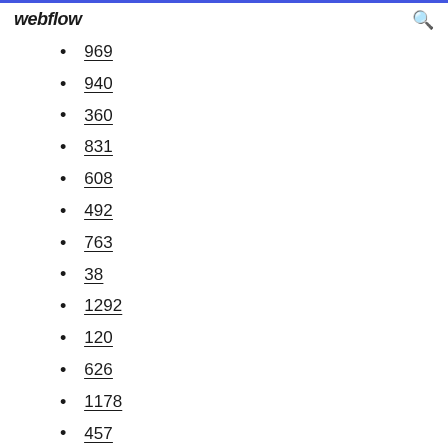webflow
969
940
360
831
608
492
763
38
1292
120
626
1178
457